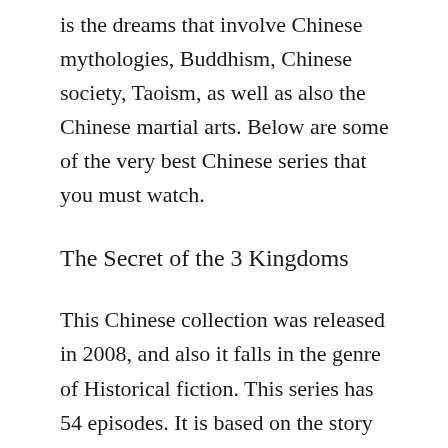is the dreams that involve Chinese mythologies, Buddhism, Chinese society, Taoism, as well as also the Chinese martial arts. Below are some of the very best Chinese series that you must watch.
The Secret of the 3 Kingdoms
This Chinese collection was released in 2008, and also it falls in the genre of Historical fiction. This series has 54 episodes. It is based on the story of the 14th century called Romance of the 3 Kingdoms. The setup of this collection is the late Han Empire. This Empire had